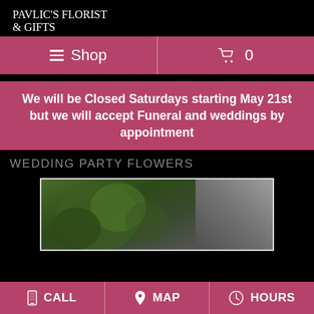PAVLIC'S FLORIST & GIFTS
≡ Shop    🛒 0
We will be Closed Saturdays starting May 21st but we will accept Funeral and weddings by appointment
WEDDING PARTY FLOWERS
[Figure (photo): Partial photo of wedding flowers, green bouquet close-up]
📱 CALL   📍 MAP   🕐 HOURS